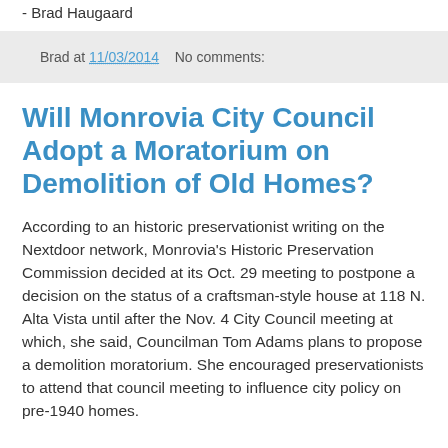- Brad Haugaard
Brad at 11/03/2014    No comments:
Will Monrovia City Council Adopt a Moratorium on Demolition of Old Homes?
According to an historic preservationist writing on the Nextdoor network, Monrovia's Historic Preservation Commission decided at its Oct. 29 meeting to postpone a decision on the status of a craftsman-style house at 118 N. Alta Vista until after the Nov. 4 City Council meeting at which, she said, Councilman Tom Adams plans to propose a demolition moratorium. She encouraged preservationists to attend that council meeting to influence city policy on pre-1940 homes.